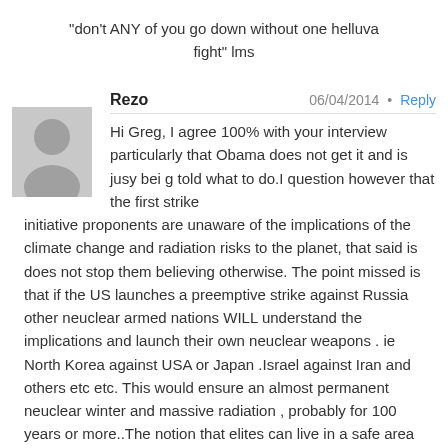“don’t ANY of you go down without one helluva fight” lms
Rezo   06/04/2014  •  Reply
Hi Greg, I agree 100% with your interview particularly that Obama does not get it and is jusy bei g told what to do.I question however that the first strike initiative proponents are unaware of the implications of the climate change and radiation risks to the planet, that said is does not stop them believing otherwise. The point missed is that if the US launches a preemptive strike against Russia other neuclear armed nations WILL understand the implications and launch their own neuclear weapons . ie North Korea against USA or Japan .Israel against Iran and others etc etc. This would ensure an almost permanent neuclear winter and massive radiation , probably for 100 years or more..The notion that elites can live in a safe area with stored food etc is absurd not to mention the advent of disease and polluted water systems for over 1000 years , not to mention the stench eminating from all